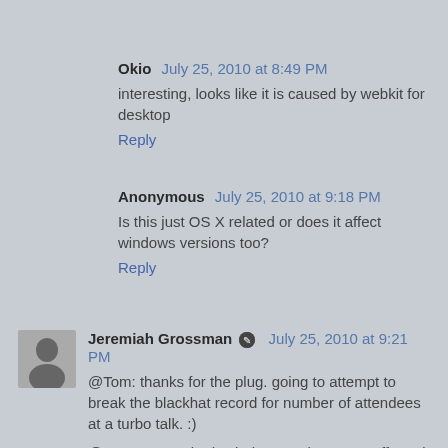Okio  July 25, 2010 at 8:49 PM
interesting, looks like it is caused by webkit for desktop
Reply
Anonymous  July 25, 2010 at 9:18 PM
Is this just OS X related or does it affect windows versions too?
Reply
Jeremiah Grossman  July 25, 2010 at 9:21 PM
@Tom: thanks for the plug. going to attempt to break the blackhat record for number of attendees at a turbo talk. :)
@Anonymous: both windows and os x are affected.
Reply